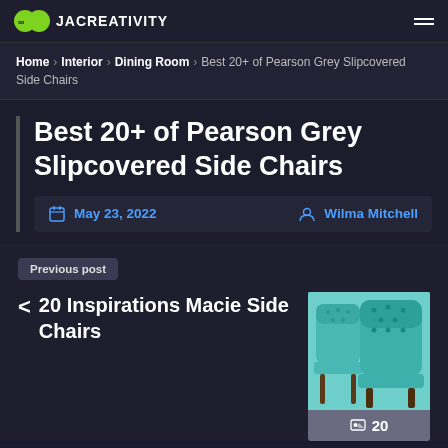JACREATIVITY
Home › Interior › Dining Room › Best 20+ of Pearson Grey Slipcovered Side Chairs
Best 20+ of Pearson Grey Slipcovered Side Chairs
May 23, 2022  Wilma Mitchell
Previous post
< 20 Inspirations Macie Side Chairs
20